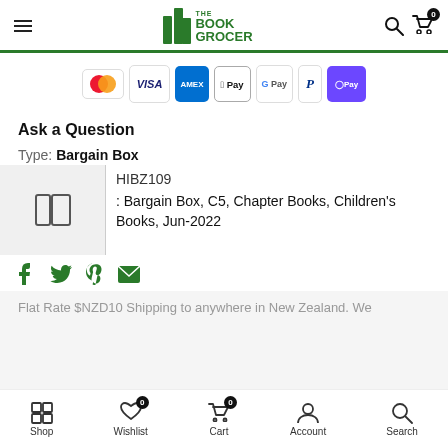The Book Grocer - navigation header with hamburger menu, logo, search and cart
[Figure (logo): Payment method icons: Mastercard, Visa, Amex, Apple Pay, Google Pay, PayPal, OPay]
Ask a Question
Type: Bargain Box
HIBZ109
Bargain Box, C5, Chapter Books, Children's Books, Jun-2022
[Figure (infographic): Social sharing icons: Facebook, Twitter, Pinterest, Email]
Flat Rate $NZD10 Shipping to anywhere in New Zealand. We
Shop | Wishlist (0) | Cart (0) | Account | Search